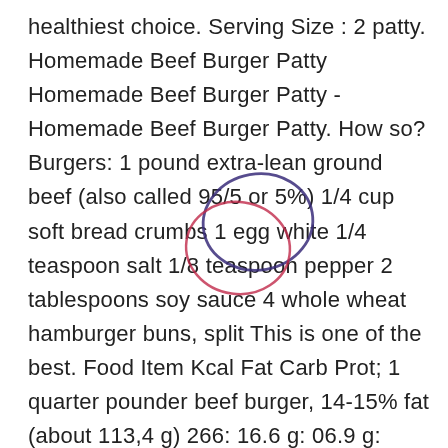healthiest choice. Serving Size : 2 patty. Homemade Beef Burger Patty Homemade Beef Burger Patty - Homemade Beef Burger Patty. How so? Burgers: 1 pound extra-lean ground beef (also called 95/5 or 5%) 1/4 cup soft bread crumbs 1 egg white 1/4 teaspoon salt 1/8 teaspoon pepper 2 tablespoons soy sauce 4 whole wheat hamburger buns, split This is one of the best. Food Item Kcal Fat Carb Prot; 1 quarter pounder beef burger, 14-15% fat (about 113,4 g) 266: 16.6 g: 06.9 g: 22.1 g: 1 quarter pounder beef burger, 22-23% fat (about 113,4 g) 339: 25.2 g Cheeseburgers are an indulgence, but knowing how many calories they contain can help you fit them into your diet occasionally. When you go to the market, check your ground beef package which will contain the calorie
[Figure (illustration): Two overlapping hand-drawn annotation circles: one dark blue/purple circle and one red/pink circle, overlapping in the center of the page around the word 'hamburger buns']